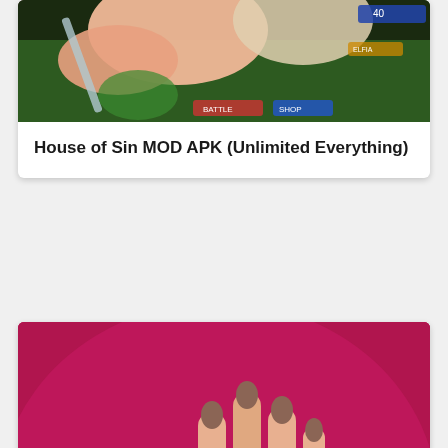[Figure (screenshot): Anime game screenshot showing characters with pink/skin tones on a dark green background, partially visible at top of page]
House of Sin MOD APK (Unlimited Everything)
[Figure (photo): Photo of two hands on a pink/magenta background, one hand placing a diamond ring on the other's finger]
Couple Up! Love Show MOD APK (Unlimited Diamonds, Tickets)